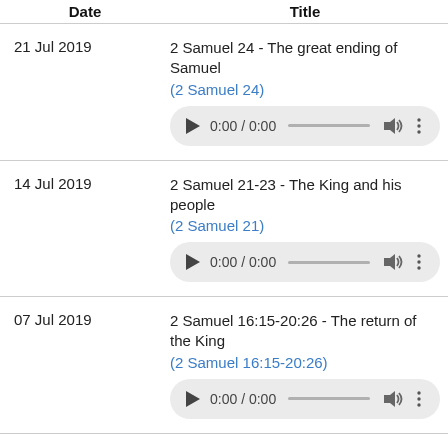| Date | Title |
| --- | --- |
| 21 Jul 2019 | 2 Samuel 24 - The great ending of Samuel
(2 Samuel 24)
[audio player] |
| 14 Jul 2019 | 2 Samuel 21-23 - The King and his people
(2 Samuel 21)
[audio player] |
| 07 Jul 2019 | 2 Samuel 16:15-20:26 - The return of the King
(2 Samuel 16:15-20:26)
[audio player] |
| 30 Jun 2019 | 2 Samuel 13-16:14 - Where is the LORD in this m
(2 Samuel 13)
[audio player] |